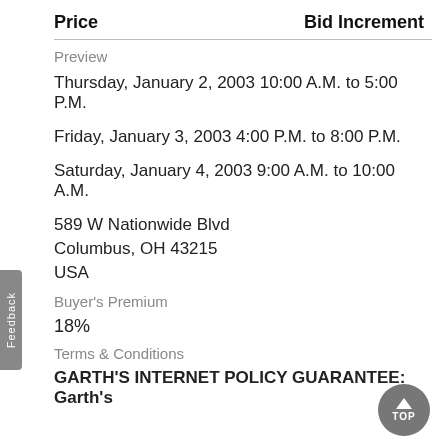| Price | Bid Increment |
| --- | --- |
Preview
Thursday, January 2, 2003 10:00 A.M. to 5:00 P.M.
Friday, January 3, 2003 4:00 P.M. to 8:00 P.M.
Saturday, January 4, 2003 9:00 A.M. to 10:00 A.M.
589 W Nationwide Blvd
Columbus, OH 43215
USA
Buyer's Premium
18%
Terms & Conditions
GARTH'S INTERNET POLICY GUARANTEE: Garth's